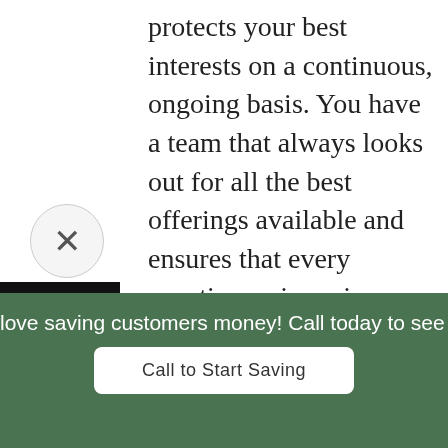protects your best interests on a continuous, ongoing basis. You have a team that always looks out for all the best offerings available and ensures that every question or issue is resolved virtually instantaneously.
[Figure (illustration): Black square accessibility icon with white human figure with arms and legs spread]
[Figure (illustration): Light grey card area with a light green circle containing a dark green lightbulb icon in the center]
[Figure (illustration): Close button: grey circle with X symbol]
love saving customers money! Call today to see how m
Call to Start Saving